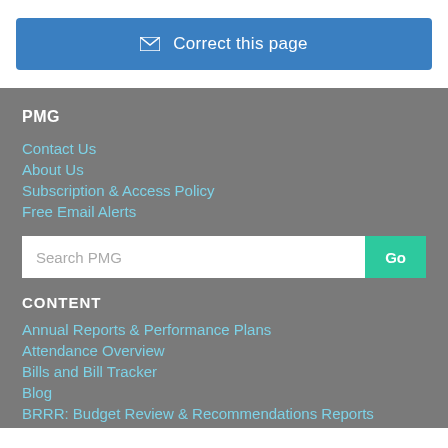✉ Correct this page
PMG
Contact Us
About Us
Subscription & Access Policy
Free Email Alerts
Search PMG
CONTENT
Annual Reports & Performance Plans
Attendance Overview
Bills and Bill Tracker
Blog
BRRR: Budget Review & Recommendations Reports